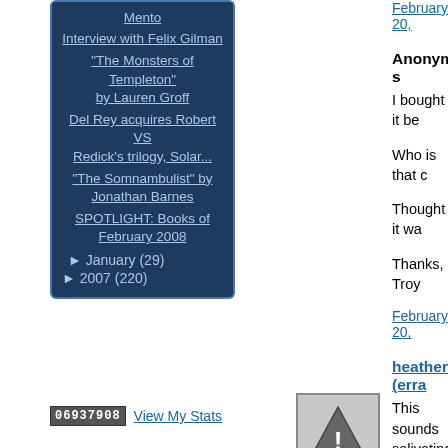Mento
Interview with Felix Gilman
"The Monsters of Templeton" by Lauren Groff
Del Rey acquires Robert VS Redick's trilogy, Solar...
"The Somnambulist" by Jonathan Barnes
SPOTLIGHT: Books of February 2008
► January (29)
► 2007 (220)
06937908  View My Stats
February 20,
Anonymous s
I bought it be
Who is that c
Thought it wa
Thanks,
Troy
February 20,
heather (erra
This sounds salivating!
February 21,
Anonymous s
Glad to see th
Is it perfect? N
Is it a fun read
Awesome cov
Recommende